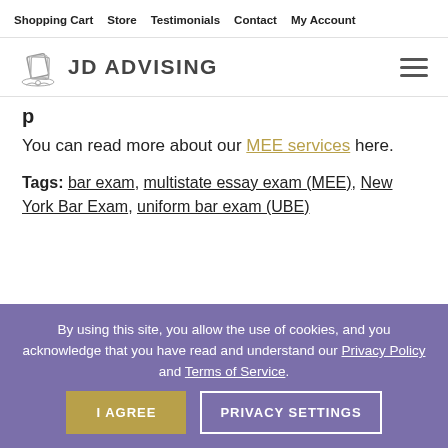Shopping Cart | Store | Testimonials | Contact | My Account
[Figure (logo): JD Advising logo with diploma/scroll icon and text 'JD ADVISING']
You can read more about our MEE services here.
Tags: bar exam, multistate essay exam (MEE), New York Bar Exam, uniform bar exam (UBE)
By using this site, you allow the use of cookies, and you acknowledge that you have read and understand our Privacy Policy and Terms of Service. I AGREE PRIVACY SETTINGS